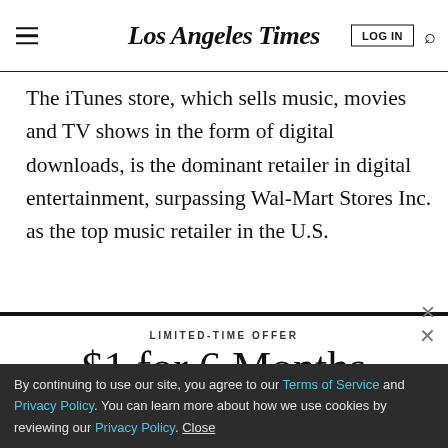Los Angeles Times | LOG IN | Search
The iTunes store, which sells music, movies and TV shows in the form of digital downloads, is the dominant retailer in digital entertainment, surpassing Wal-Mart Stores Inc. as the top music retailer in the U.S.
LIMITED-TIME OFFER
$1 for 6 Months
SUBSCRIBE NOW
By continuing to use our site, you agree to our Terms of Service and Privacy Policy. You can learn more about how we use cookies by reviewing our Privacy Policy. Close